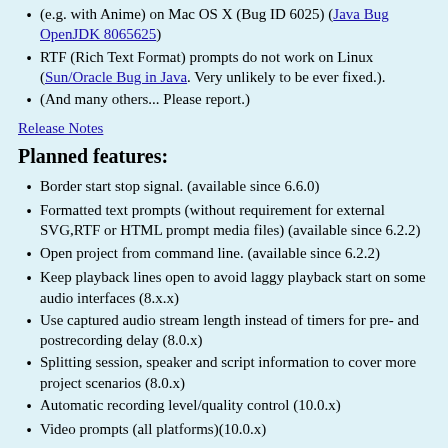(e.g. with Anime) on Mac OS X (Bug ID 6025) (Java Bug OpenJDK 8065625)
RTF (Rich Text Format) prompts do not work on Linux (Sun/Oracle Bug in Java. Very unlikely to be ever fixed.).
(And many others... Please report.)
Release Notes
Planned features:
Border start stop signal. (available since 6.6.0)
Formatted text prompts (without requirement for external SVG,RTF or HTML prompt media files) (available since 6.2.2)
Open project from command line. (available since 6.2.2)
Keep playback lines open to avoid laggy playback start on some audio interfaces (8.x.x)
Use captured audio stream length instead of timers for pre- and postrecording delay (8.0.x)
Splitting session, speaker and script information to cover more project scenarios (8.0.x)
Automatic recording level/quality control (10.0.x)
Video prompts (all platforms)(10.0.x)
Allow arbitrary path for workspace (10.x.x)
Replace Java Swing with JavaFX (20.0.x)